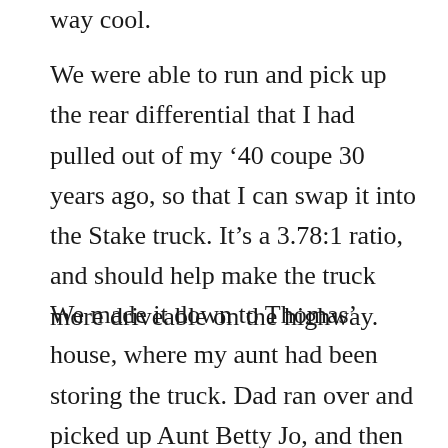way cool.
We were able to run and pick up the rear differential that I had pulled out of my ’40 coupe 30 years ago, so that I can swap it into the Stake truck. It’s a 3.78:1 ratio, and should help make the truck more driveable on the highway.
We made it down to Thomas’ house, where my aunt had been storing the truck. Dad ran over and picked up Aunt Betty Jo, and then